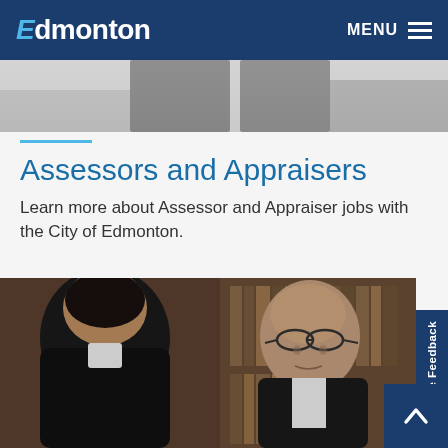Edmonton  MENU
[Figure (photo): Top partial photo strip showing silhouettes of people in dark clothing against a light background]
Assessors and Appraisers
Learn more about Assessor and Appraiser jobs with the City of Edmonton.
[Figure (photo): Two men in formal dark robes or suits facing each other in conversation, with bookshelves in the background. One man is bald and wearing glasses.]
Website Feedback